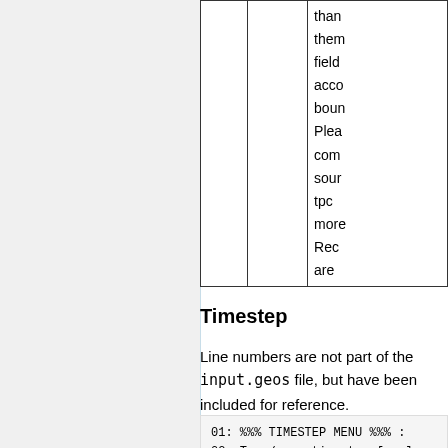|  |  | than
them
field
acco
boun
Plea
com
sour
tpc
more
Rec
are |
Timestep
Line numbers are not part of the input.geos file, but have been included for reference.
01: %%% TIMESTEP MENU %%% :
02: Tran/conv timestep [sec]: